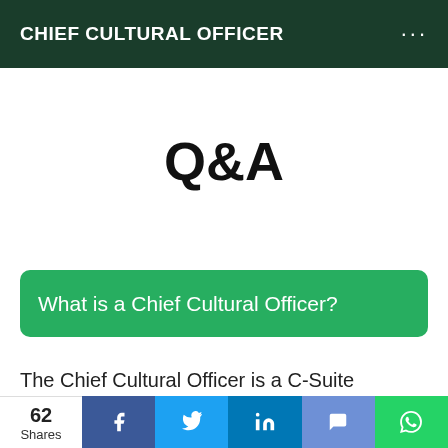CHIEF CULTURAL OFFICER
Q&A
What is a Chief Cultural Officer?
The Chief Cultural Officer is a C-Suite position that innovates the discussions of corporate
62 Shares